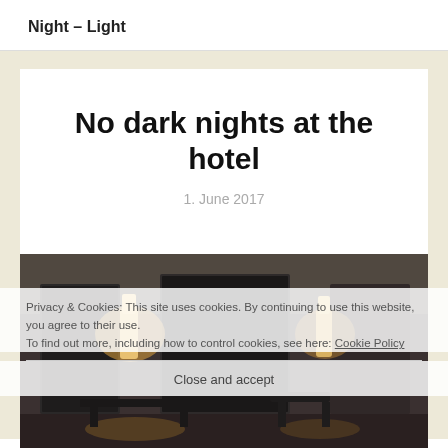Night – Light
No dark nights at the hotel
1. June 2017
[Figure (photo): Hotel room interior with warm ambient lighting, showing furniture and lit wall sconces]
Privacy & Cookies: This site uses cookies. By continuing to use this website, you agree to their use.
To find out more, including how to control cookies, see here: Cookie Policy
Close and accept